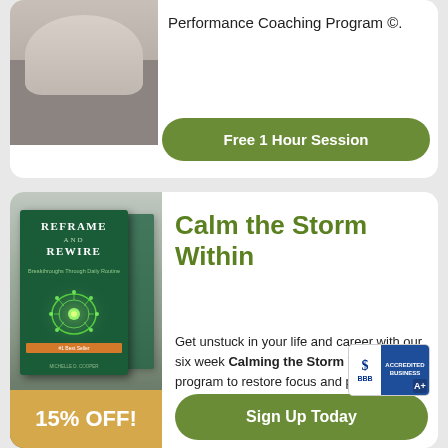[Figure (photo): Photo of a person with arms crossed wearing a grey blazer, cropped at the top of the card]
Performance Coaching Program ©.
Free 1 Hour Session
[Figure (photo): Book cover for 'Reframe and Rewire: Breakthroughs Through Daily Routine' showing a glowing green brain, with a second book behind it, and a golden banner reading 15% OFF!]
Calm the Storm Within
Get unstuck in your life and career with our six week Calming the Storm Within program to restore focus and purpose.
Sign Up Today
[Figure (logo): BBB Accredited Business badge with A+ rating]